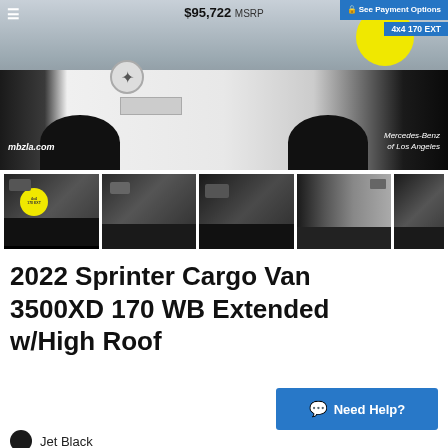[Figure (photo): Main photo of a white Mercedes-Benz Sprinter Cargo Van with price overlay $95,722 MSRP, See Payment Options button, 4x4 170 EXT badge, mbzla.com watermark, and Mercedes-Benz of Los Angeles branding.]
[Figure (photo): Thumbnail gallery row showing 5 images of black Mercedes-Benz Sprinter Cargo Van from various angles. First thumbnail has yellow circle badge with 4x4 170 EXT text.]
2022 Sprinter Cargo Van 3500XD 170 WB Extended w/High Roof
Need Help?
Jet Black